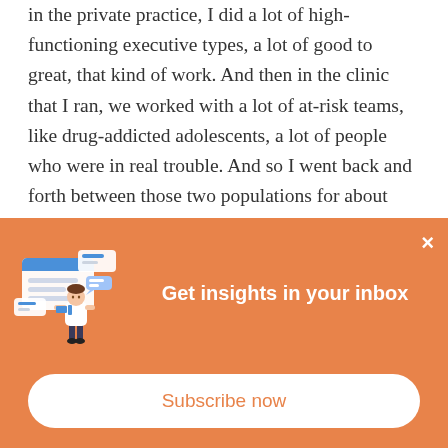in the private practice, I did a lot of high-functioning executive types, a lot of good to great, that kind of work. And then in the clinic that I ran, we worked with a lot of at-risk teams, like drug-addicted adolescents, a lot of people who were in real trouble. And so I went back and forth between those two populations for about twenty years, which is, you know, a considerable amount of time, and I watched the teen crisis unfold in America from a front-row seat. And I'm not gonna make this entire talk about it because I could talk about this for days, but the second leading
[Figure (infographic): Orange subscription popup banner with illustration of a man standing next to floating UI panels/messages, title 'Get insights in your inbox', a close button (×), and a 'Subscribe now' button.]